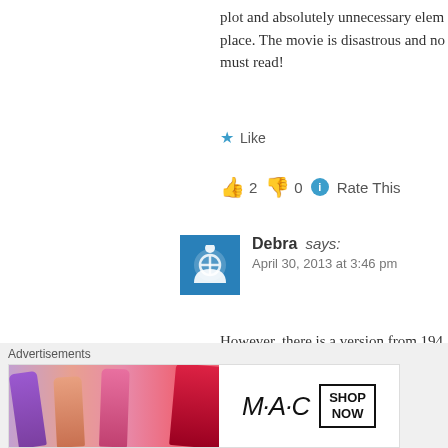plot and absolutely unnecessary elem place. The movie is disastrous and no must read!
★ Like
👍 2 👎 0 ℹ Rate This
[Figure (illustration): Blue square avatar icon with power/user symbol in white]
Debra says:
April 30, 2013 at 3:46 pm
However, there is a version from 194 good.(In reply to Anna's comment.
★ Like
Advertisements
[Figure (photo): MAC cosmetics advertisement banner showing colorful lipsticks with MAC logo and SHOP NOW button]